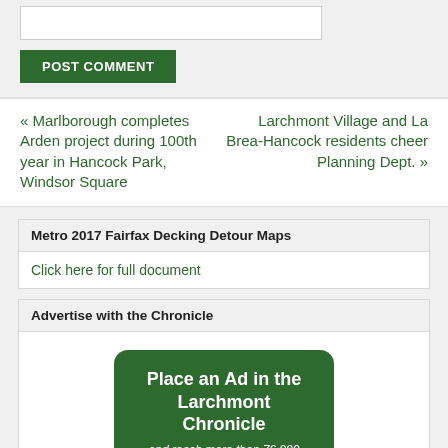[Comment input box]
POST COMMENT
« Marlborough completes Arden project during 100th year in Hancock Park, Windsor Square
Larchmont Village and La Brea-Hancock residents cheer Planning Dept. »
Metro 2017 Fairfax Decking Detour Maps
Click here for full document
Advertise with the Chronicle
[Figure (infographic): Green rounded rectangle banner: 'Place an Ad in the Larchmont Chronicle and reach more than 76,000 readers in an affluent area of Los Angeles.']